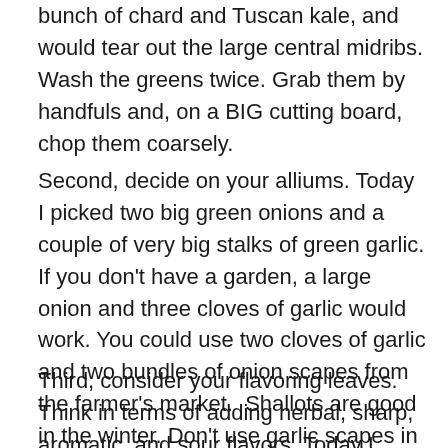bunch of chard and Tuscan kale, and would tear out the large central midribs. Wash the greens twice. Grab them by handfuls and, on a BIG cutting board, chop them coarsely.
Second, decide on your alliums. Today I picked two big green onions and a couple of very big stalks of green garlic. If you don't have a garden, a large onion and three cloves of garlic would work. You could use two cloves of garlic and two bundles of onion scapes from the farmer's market.  Shallots are good in the winter. Don't use garlic scapes in this recipe, because the texture doesn't work.  Chop your alliums finely.
Third, consider your flavoring leaves. Think in terms of adding herbal, sharp, aromatic, and sour flavors. Today I picked several large young wine grape leaves for the